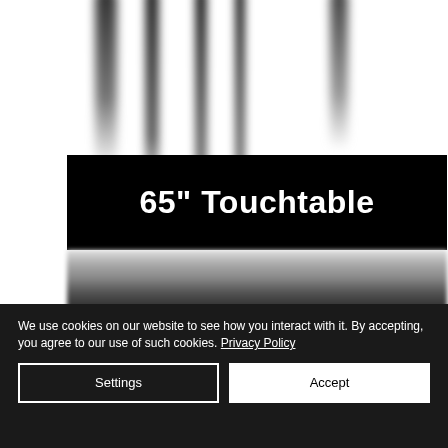[Figure (photo): Blurred dark vertical rods/legs visible against white background, with a black banner showing '65" Touchtable' and a reflective surface below — product photograph of a 65-inch touchtable display]
65" Touchtable
We use cookies on our website to see how you interact with it. By accepting, you agree to our use of such cookies. Privacy Policy
Settings
Accept